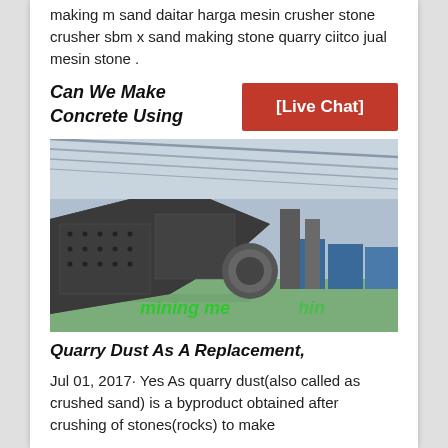making m sand daitar harga mesin crusher stone crusher sbm x sand making stone quarry ciitco jual mesin stone .
Can We Make Concrete Using
[Figure (other): Live Chat button - orange/red rectangular button with white text [Live Chat]]
[Figure (photo): Industrial mining/crushing machinery inside a large factory warehouse with green floor. Text overlay reads 'mining me hin' in green italic font.]
Quarry Dust As A Replacement,
Jul 01, 2017· Yes As quarry dust(also called as crushed sand) is a byproduct obtained after crushing of stones(rocks) to make